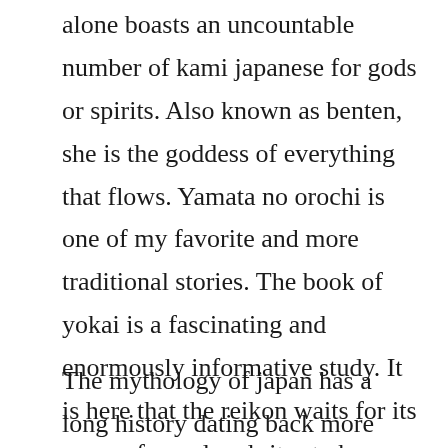alone boasts an uncountable number of kami japanese for gods or spirits. Also known as benten, she is the goddess of everything that flows. Yamata no orochi is one of my favorite and more traditional stories. The book of yokai is a fascinating and enormously informative study. It is here that the reikon waits for its proper funeral and rites to be performed and completed, so it can move onto the afterlife and join its ancestors.
The mythology of japan has a long history dating back more than 2,000 years. They are